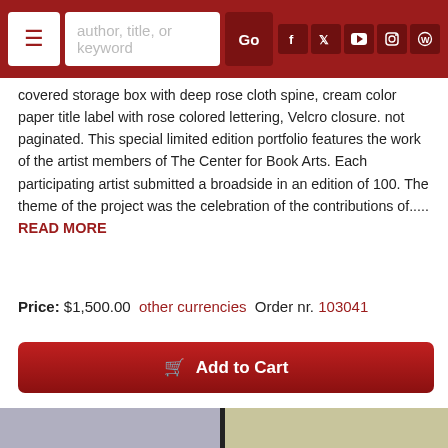author, title, or keyword | Go
covered storage box with deep rose cloth spine, cream color paper title label with rose colored lettering, Velcro closure. not paginated. This special limited edition portfolio features the work of the artist members of The Center for Book Arts. Each participating artist submitted a broadside in an edition of 100. The theme of the project was the celebration of the contributions of..... READ MORE
Price: $1,500.00  other currencies  Order nr. 103041
[Figure (other): Add to Cart button - dark red button with shopping cart icon]
[Figure (photo): Photo of a book or portfolio box with black ribbon closure and a tag reading '30 years', shown against a gray/blue background, displayed on a tan/olive background]